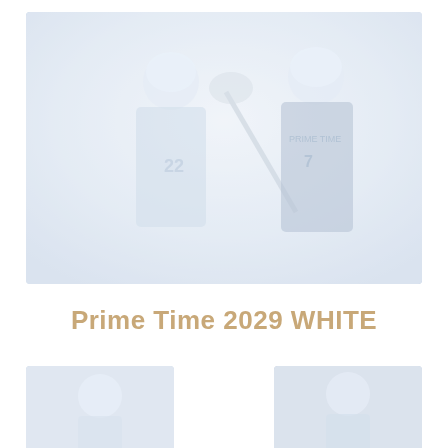[Figure (photo): Two female lacrosse players in blue and white uniforms holding lacrosse sticks, very faded/washed out blue-white tones]
Prime Time 2029 WHITE
[Figure (photo): Partial photo at bottom left, faded, appears to show a player]
[Figure (photo): Partial photo at bottom right, faded, appears to show a player]